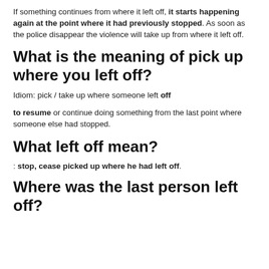If something continues from where it left off, it starts happening again at the point where it had previously stopped. As soon as the police disappear the violence will take up from where it left off.
What is the meaning of pick up where you left off?
Idiom: pick / take up where someone left off
to resume or continue doing something from the last point where someone else had stopped.
What left off mean?
: stop, cease picked up where he had left off.
Where was the last person left off?